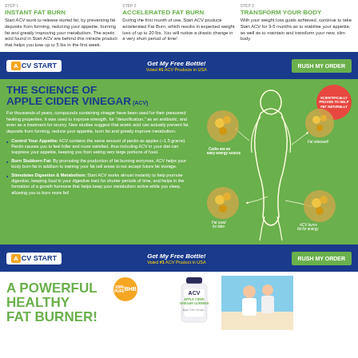Step 1 INSTANT FAT BURN
Start ACV work to release stored fat, by preventing fat deposits from forming, reducing your appetite, burning fat and greatly improving your metabolism. The acetic acid found in Start ACV are behind this miracle product that helps you lose up to 5 lbs in the first week.
Step 2 ACCELERATED FAT BURN
During the first month of use, Start ACV produce accelerated Fat Burn, which results in expected weight loss of up to 20 lbs. You will notice a drastic change in a very short period of time!
Step 3 TRANSFORM YOUR BODY
With your weight loss goals achieved, continue to take Start ACV for 3-5 months as to stabilise your appetite, as well as to maintain and transform your new, slim body.
[Figure (logo): ACV START logo in blue nav bar with Get My Free Bottle and RUSH MY ORDER button]
THE SCIENCE OF APPLE CIDER VINEGAR (ACV)
For thousands of years, compounds containing vinegar have been used for their presumed healing properties. It was used to improve strength, for "detoxification," as an antibiotic, and even as a treatment for scurvy. New studies suggest that acetic acid can actually prevent fat deposits from forming, reduce your appetite, burn fat and greatly improve metabolism.
Control Your Appetite: ACV contains the same amount of pectin as apples (~1.5 grams). Pectin causes you to feel fuller and more satisfied, thus including ACV in your diet can suppress your appetite, keeping you from eating very large portions of food.
Burn Stubborn Fat: By promoting the production of fat burning enzymes, ACV helps your body burn fat in addition to training your fat cell areas to not accept future fat storage.
Stimulates Digestion & Metabolism: Start ACV works almost instantly to help promote digestion, keeping food in your digestive tract for shorter periods of time, and helps in the formation of a growth hormone that helps keep your metabolism active while you sleep, allowing you to burn more fat!
[Figure (illustration): Illustration of a woman's body with circles showing fat cells and labels: Carbs are an easy energy source, Fat released!, Fat used for later, ACV burns fat for energy. Red badge saying Scientifically Proven to Help Fat Naturally.]
[Figure (logo): ACV START logo in second blue nav bar with Get My Free Bottle and RUSH MY ORDER button]
A POWERFUL HEALTHY FAT BURNER!
[Figure (photo): Product bottle of ACV Apple Cider Vinegar Gummies with 100% Pure BHB badge, alongside photo of happy couple on beach]